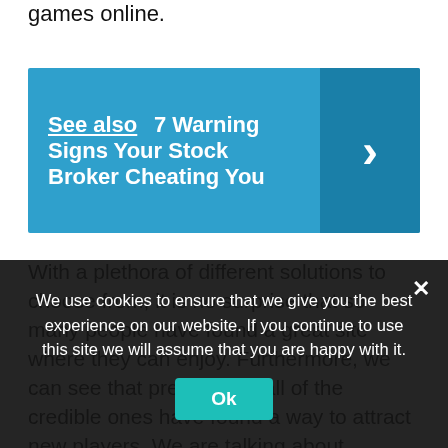games online.
See also  7 Warning Signs Your Stock Broker Cheating You
With a plethora of different solutions to choose from, it is no surprise that so many people have found a great site where they can enjoy. Furthermore, we can see that pretty much all of the credible ones have found a way to attract new players. We are talking about bonuses, promotions, and all sorts of advertising. If you are interested in this kind of entertainment, be sure to
We use cookies to ensure that we give you the best experience on our website. If you continue to use this site we will assume that you are happy with it.